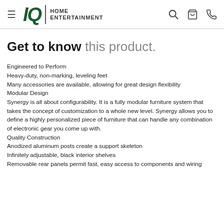IQ HOME ENTERTAINMENT
Get to know this product.
Engineered to Perform
Heavy-duty, non-marking, leveling feet
Many accessories are available, allowing for great design flexibility
Modular Design
Synergy is all about configurability. It is a fully modular furniture system that takes the concept of customization to a whole new level. Synergy allows you to define a highly personalized piece of furniture that can handle any combination of electronic gear you come up with.
Quality Construction
Anodized aluminum posts create a support skeleton
Infinitely adjustable, black interior shelves
Removable rear panels permit fast, easy access to components and wiring